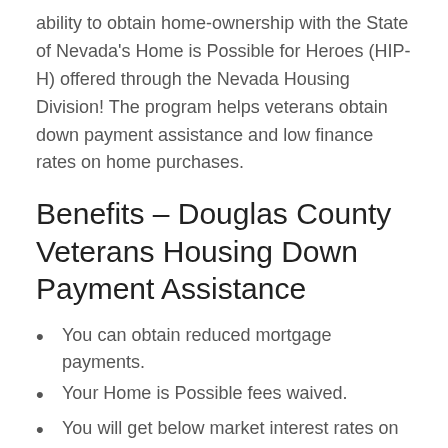ability to obtain home-ownership with the State of Nevada's Home is Possible for Heroes (HIP-H) offered through the Nevada Housing Division! The program helps veterans obtain down payment assistance and low finance rates on home purchases.
Benefits – Douglas County Veterans Housing Down Payment Assistance
You can obtain reduced mortgage payments.
Your Home is Possible fees waived.
You will get below market interest rates on 30 year loans.
Available in Douglas County and throughout the whole state of Nevada.
Can combine the Veterans Program with the